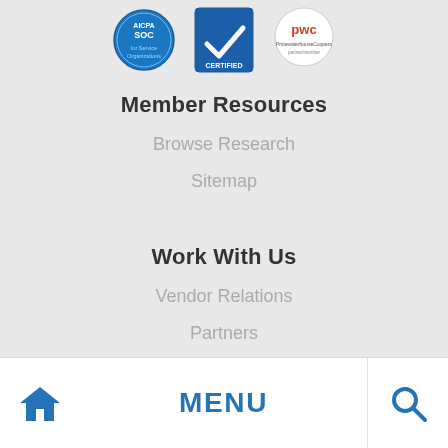[Figure (logo): Three certification badge logos: AICPA SOC, Certified checkmark, and PwC logos displayed in a row]
Member Resources
Browse Research
Sitemap
Work With Us
Vendor Relations
Partners
Home  MENU  Search